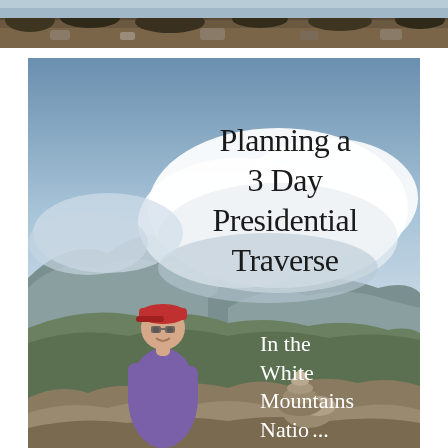[Figure (photo): Narrow strip photo at top of page showing rocky mountain terrain with vegetation]
[Figure (photo): Main large photo showing a woman in a purple long-sleeve shirt and red baseball cap standing on a mountain summit with rocky terrain, a stone cairn, mountain ridges, and dramatic cloudy sky in the background. White text overlaid reads 'Planning a 3 Day Presidential Traverse' and 'In the White Mountains Natio...']
Planning a 3 Day Presidential Traverse
In the White Mountains Natio...